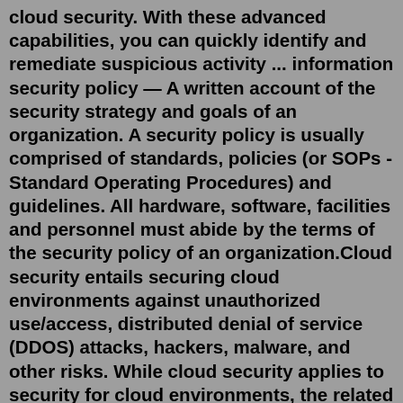cloud security. With these advanced capabilities, you can quickly identify and remediate suspicious activity ... information security policy — A written account of the security strategy and goals of an organization. A security policy is usually comprised of standards, policies (or SOPs - Standard Operating Procedures) and guidelines. All hardware, software, facilities and personnel must abide by the terms of the security policy of an organization.Cloud security entails securing cloud environments against unauthorized use/access, distributed denial of service (DDOS) attacks, hackers, malware, and other risks. While cloud security applies to security for cloud environments, the related term, cloud-based security, refers to the software as a service (SaaS) delivery model of security ... In basic terms, Ari Zoldan CEO, Quantum Networks, breaks down "cloud security" as a component of computer security which deals with the policies, technologies, and controls put into place to ...Cloud computing security refers to the technical discipline and processes that IT organizations use to